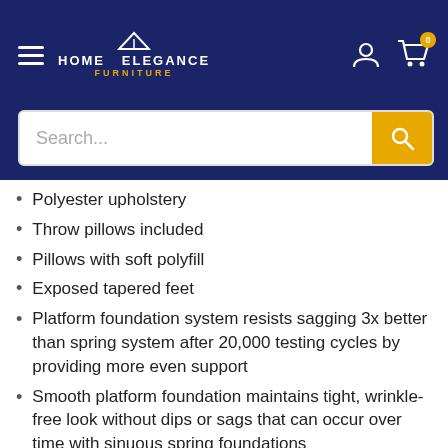Home Elegance Furniture
Polyester upholstery
Throw pillows included
Pillows with soft polyfill
Exposed tapered feet
Platform foundation system resists sagging 3x better than spring system after 20,000 testing cycles by providing more even support
Smooth platform foundation maintains tight, wrinkle-free look without dips or sags that can occur over time with sinuous spring foundations
Dimensions (Interior)